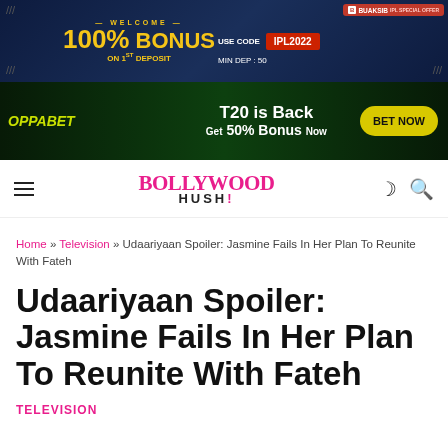[Figure (infographic): Advertisement banner: WELCOME 100% BONUS ON 1st DEPOSIT, USE CODE IPL2022, MIN DEP: 50, BUAKSIB IPL SPECIAL OFFER]
[Figure (infographic): OPPABET advertisement: T20 is Back Get 50% Bonus Now. BET NOW button.]
BOLLYWOOD HUSH!
Home » Television » Udaariyaan Spoiler: Jasmine Fails In Her Plan To Reunite With Fateh
Udaariyaan Spoiler: Jasmine Fails In Her Plan To Reunite With Fateh
TELEVISION